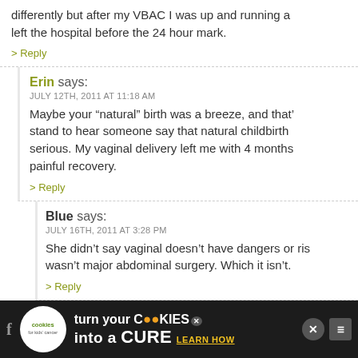differently but after my VBAC I was up and running a left the hospital before the 24 hour mark.
> Reply
Erin says: JULY 12TH, 2011 AT 11:18 AM
Maybe your “natural” birth was a breeze, and that’ stand to hear someone say that natural childbirth serious. My vaginal delivery left me with 4 months painful recovery.
> Reply
Blue says: JULY 16TH, 2011 AT 3:28 PM
She didn’t say vaginal doesn’t have dangers or ris wasn’t major abdominal surgery. Which it isn’t.
> Reply
[Figure (infographic): Advertisement banner: cookies for kids cancer - turn your cookies into a cure, learn how]